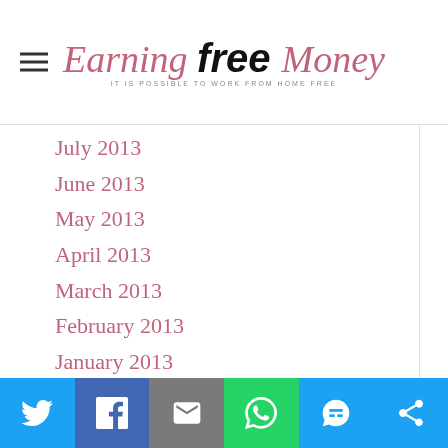Earning Free Money — IT IS POSSIBLE TO WORK FROM HOME FREE
July 2013
June 2013
May 2013
April 2013
March 2013
February 2013
January 2013
December 2012
November 2012
October 2012
September 2012
August 2012
July 2012
June 2012
May 2012
Twitter | Facebook | Email | WhatsApp | SMS | More